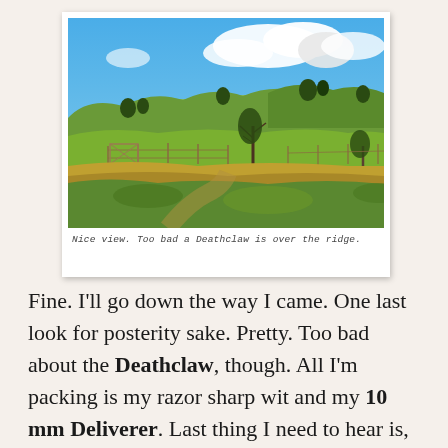[Figure (photo): Polaroid-style photo of rolling green hills under a blue sky with clouds. A fence and trees are visible in the foreground. A handwritten caption at the bottom reads: 'Nice view. Too bad a Deathclaw is over the ridge.']
Nice view. Too bad a Deathclaw is over the ridge.
Fine. I'll go down the way I came. One last look for posterity sake. Pretty. Too bad about the Deathclaw, though. All I'm packing is my razor sharp wit and my 10 mm Deliverer. Last thing I need to hear is, pew! pew! pew! and then the sound of my own screams as I'm shaken